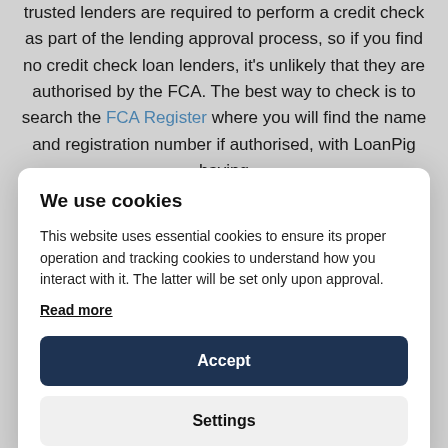trusted lenders are required to perform a credit check as part of the lending approval process, so if you find no credit check loan lenders, it's unlikely that they are authorised by the FCA. The best way to check is to search the FCA Register where you will find the name and registration number if authorised, with LoanPig having
We use cookies
This website uses essential cookies to ensure its proper operation and tracking cookies to understand how you interact with it. The latter will be set only upon approval.
Read more
Accept
Settings
low credit rating. At LoanPig, we offer many